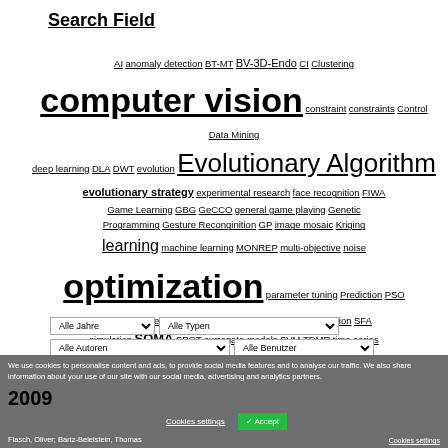Search Field
AI anomaly detection BT-MT BV-3D-Endo CI Clustering computer vision constraint constraints Control Data Mining deep learning DLA DWT evolution Evolutionary Algorithm evolutionary strategy experimental research face recognition FIWA Game Learning GBG GeCCO general game playing Genetic Programming Gesture Reconginition GP image mosaic Kriging learning machine learning MONREP multi-objective noise optimization parameter tuning Prediction PSO R Reinforcement learning SACOBRA sequential optimization SFA simulation SOMA SPOT surrogate models SVM TDMR time series
Alle Jahre  Alle Typen  Alle Autoren  Alle Benutzer
Zeige alle
We use cookies to personalise content and ads, to provide social media features and to analyse our traffic. We also share information about your use of our site with our social media, advertising and analytics partners.
Cookies settings  Accept  Cookies settings
Flasch, Oliver; Bartz-Beielstein, Thomas